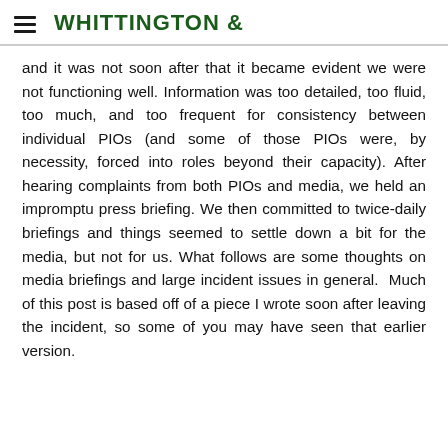WHITTINGTON &
and it was not soon after that it became evident we were not functioning well. Information was too detailed, too fluid, too much, and too frequent for consistency between individual PIOs (and some of those PIOs were, by necessity, forced into roles beyond their capacity). After hearing complaints from both PIOs and media, we held an impromptu press briefing. We then committed to twice-daily briefings and things seemed to settle down a bit for the media, but not for us. What follows are some thoughts on media briefings and large incident issues in general.  Much of this post is based off of a piece I wrote soon after leaving the incident, so some of you may have seen that earlier version.